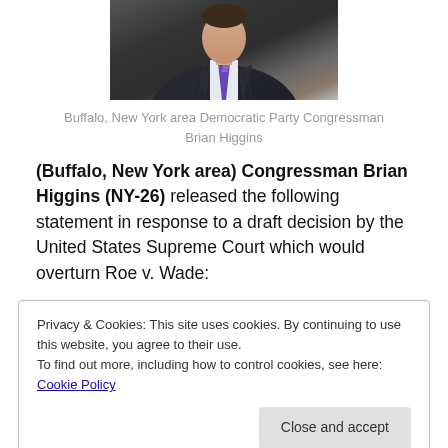[Figure (photo): Portrait photo of Congressman Brian Higgins wearing a dark pinstripe suit and purple/blue tie]
Buffalo, New York area Democratic Party Congressman Brian Higgins
(Buffalo, New York area) Congressman Brian Higgins (NY-26) released the following statement in response to a draft decision by the United States Supreme Court which would overturn Roe v. Wade:
Privacy & Cookies: This site uses cookies. By continuing to use this website, you agree to their use.
To find out more, including how to control cookies, see here: Cookie Policy
Close and accept